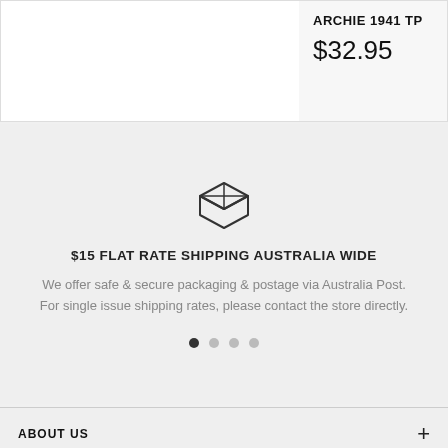ARCHIE 1941 TP
$32.95
[Figure (illustration): Box/package icon outline drawing]
$15 FLAT RATE SHIPPING AUSTRALIA WIDE
We offer safe & secure packaging & postage via Australia Post. For single issue shipping rates, please contact the store directly.
ABOUT US
MORE INFO